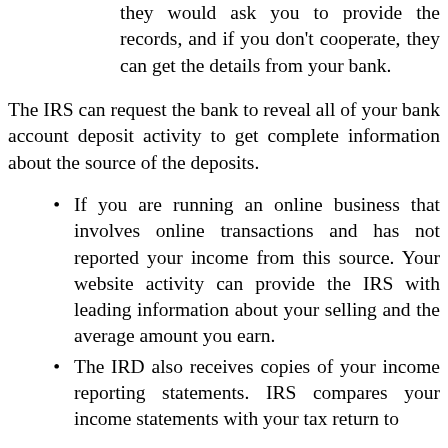they would ask you to provide the records, and if you don't cooperate, they can get the details from your bank.
The IRS can request the bank to reveal all of your bank account deposit activity to get complete information about the source of the deposits.
If you are running an online business that involves online transactions and has not reported your income from this source. Your website activity can provide the IRS with leading information about your selling and the average amount you earn.
The IRD also receives copies of your income reporting statements. IRS compares your income statements with your tax return to